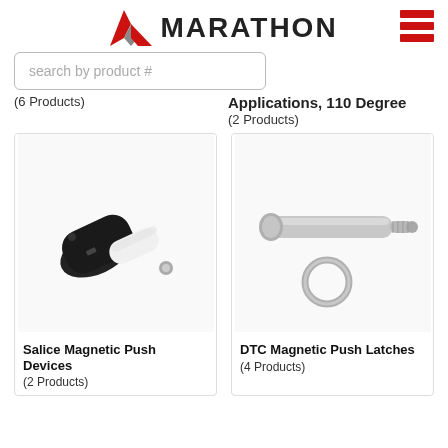MARATHON
search by product #
Applications, 110 Degree
(2 Products)
(6 Products)
[Figure (photo): Salice magnetic push device - black and white cylindrical component with metal tip]
Salice Magnetic Push Devices
(2 Products)
[Figure (photo): DTC magnetic push latch - silver cylindrical pin with metal washer]
DTC Magnetic Push Latches
(4 Products)